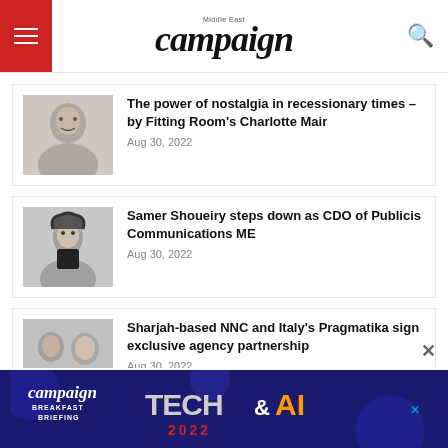campaign Middle East
[Figure (photo): Photo of a woman smiling, greyscale]
The power of nostalgia in recessionary times – by Fitting Room's Charlotte Mair
Aug 30, 2022
[Figure (photo): Black and white photo of a man with curly hair in a suit]
Samer Shoueiry steps down as CDO of Publicis Communications ME
Aug 30, 2022
[Figure (photo): Two people: a man and a woman, greyscale]
Sharjah-based NNC and Italy's Pragmatika sign exclusive agency partnership
Aug 30, 2022
[Figure (screenshot): Campaign Tech & AI 2022 Breakfast Briefing advertisement banner]